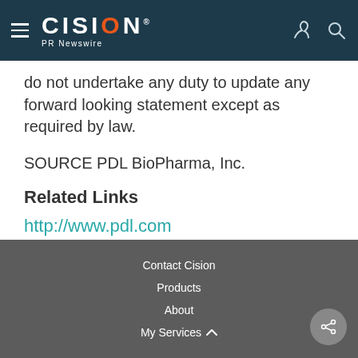CISION PR Newswire
do not undertake any duty to update any forward looking statement except as required by law.
SOURCE PDL BioPharma, Inc.
Related Links
http://www.pdl.com
Contact Cision
Products
About
My Services